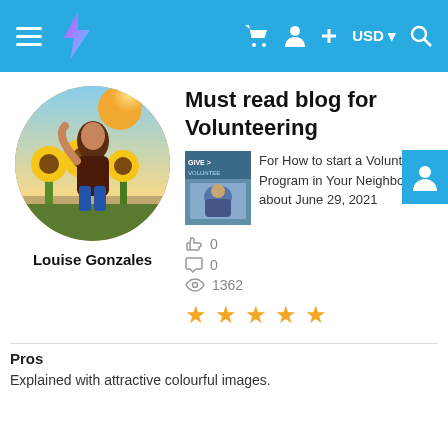Navigation header with hamburger menu, logo, cart, user, plus, USD currency selector, and search icons
[Figure (photo): Circular profile photo of a person among sunflowers]
Louise Gonzales
Must read blog for Volunteering
[Figure (photo): Small thumbnail of volunteering blog post image]
For How to start a Volunteering Program in Your Neighborh | about June 29, 2021
0 0 1362
[Figure (infographic): Five yellow star rating]
Pros
Explained with attractive colourful images.